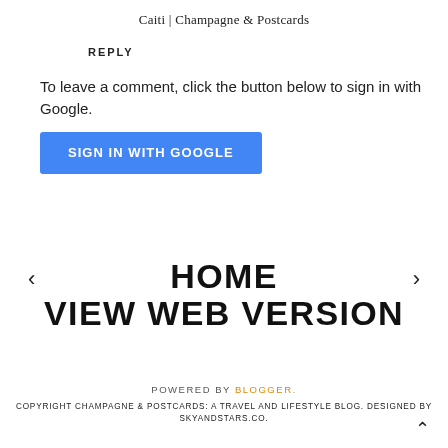Caiti | Champagne & Postcards
REPLY
To leave a comment, click the button below to sign in with Google.
SIGN IN WITH GOOGLE
‹
HOME
VIEW WEB VERSION
›
POWERED BY BLOGGER.
COPYRIGHT CHAMPAGNE & POSTCARDS: A TRAVEL AND LIFESTYLE BLOG. DESIGNED BY SKYANDSTARS.CO.